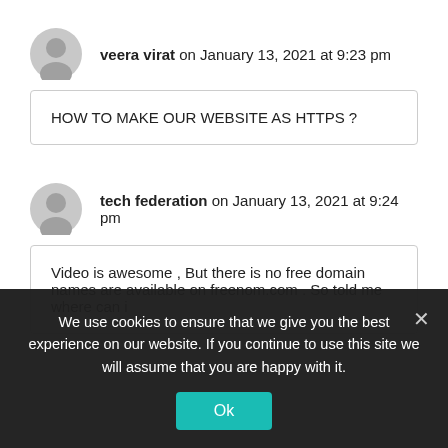veera virat on January 13, 2021 at 9:23 pm
HOW TO MAKE OUR WEBSITE AS HTTPS ?
tech federation on January 13, 2021 at 9:24 pm
Video is awesome , But there is no free domain names are available on freenom.com . So told me where can i
We use cookies to ensure that we give you the best experience on our website. If you continue to use this site we will assume that you are happy with it.
Ok